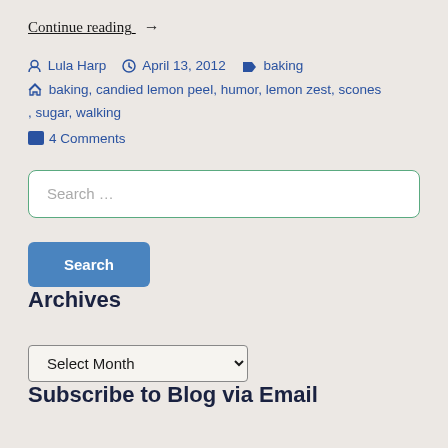Continue reading  →
Lula Harp   April 13, 2012   baking
baking, candied lemon peel, humor, lemon zest, scones, sugar, walking
4 Comments
Search ...
Search
Archives
Select Month
Subscribe to Blog via Email